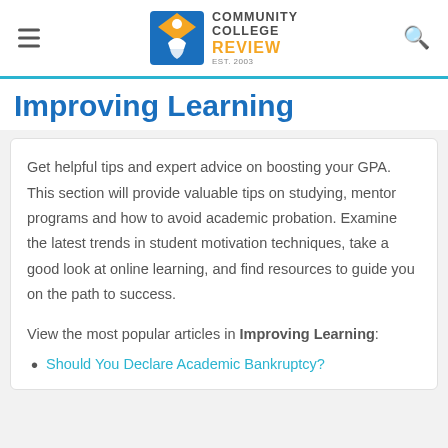Community College Review — EST. 2003
Improving Learning
Get helpful tips and expert advice on boosting your GPA. This section will provide valuable tips on studying, mentor programs and how to avoid academic probation. Examine the latest trends in student motivation techniques, take a good look at online learning, and find resources to guide you on the path to success.
View the most popular articles in Improving Learning:
Should You Declare Academic Bankruptcy?